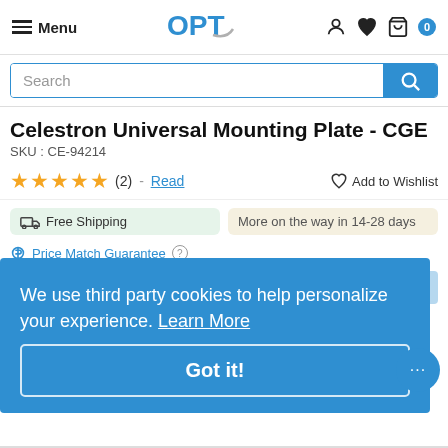Menu | OPT | (icons: account, wishlist, cart 0)
Search
Celestron Universal Mounting Plate - CGE
SKU : CE-94214
★★★★★ (2) - Read | Add to Wishlist
Free Shipping
More on the way in 14-28 days
We use third party cookies to help personalize your experience. Learn More
Got it!
1   Add to Cart
Got questions? Click for live chat